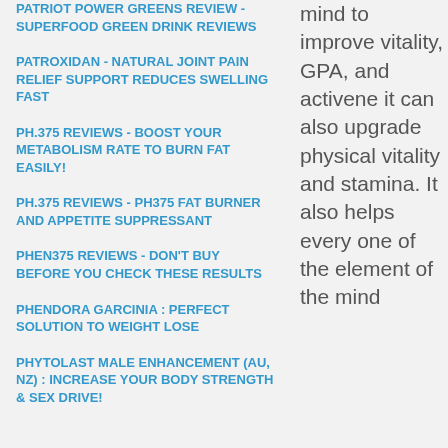PATRIOT POWER GREENS REVIEW - SUPERFOOD GREEN DRINK REVIEWS
PATROXIDAN - NATURAL JOINT PAIN RELIEF SUPPORT REDUCES SWELLING FAST
PH.375 REVIEWS - BOOST YOUR METABOLISM RATE TO BURN FAT EASILY!
PH.375 REVIEWS - PH375 FAT BURNER AND APPETITE SUPPRESSANT
PHEN375 REVIEWS - DON'T BUY BEFORE YOU CHECK THESE RESULTS
PHENDORA GARCINIA : PERFECT SOLUTION TO WEIGHT LOSE
PHYTOLAST MALE ENHANCEMENT (AU, NZ) : INCREASE YOUR BODY STRENGTH & SEX DRIVE!
mind to improve vitality, GPA, and activene it can also upgrade physical vitality and stamina. It also helps every one of the element of the mind